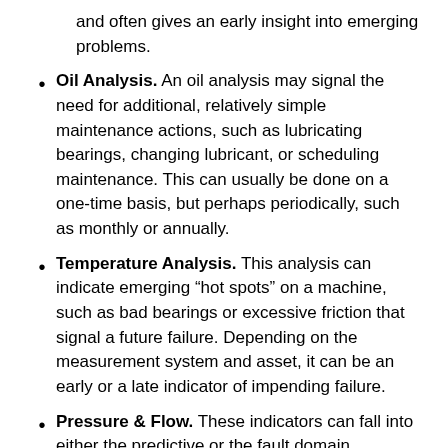and often gives an early insight into emerging problems.
Oil Analysis. An oil analysis may signal the need for additional, relatively simple maintenance actions, such as lubricating bearings, changing lubricant, or scheduling maintenance. This can usually be done on a one-time basis, but perhaps periodically, such as monthly or annually.
Temperature Analysis. This analysis can indicate emerging “hot spots” on a machine, such as bad bearings or excessive friction that signal a future failure. Depending on the measurement system and asset, it can be an early or a late indicator of impending failure.
Pressure & Flow. These indicators can fall into either the predictive or the fault domain, depending on implementation. If a proactive approach is taken, they might be condition indicators that can provide an